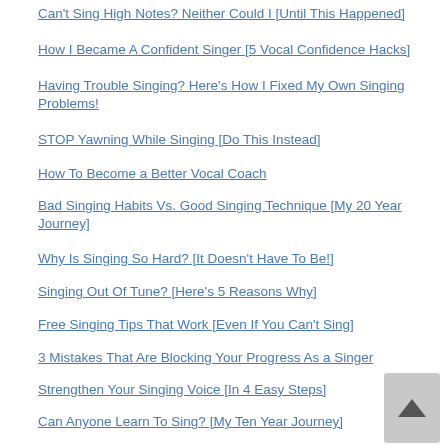Can't Sing High Notes? Neither Could I [Until This Happened]
How I Became A Confident Singer [5 Vocal Confidence Hacks]
Having Trouble Singing? Here's How I Fixed My Own Singing Problems!
STOP Yawning While Singing [Do This Instead]
How To Become a Better Vocal Coach
Bad Singing Habits Vs. Good Singing Technique [My 20 Year Journey]
Why Is Singing So Hard? [It Doesn't Have To Be!]
Singing Out Of Tune? [Here's 5 Reasons Why]
Free Singing Tips That Work [Even If You Can't Sing]
3 Mistakes That Are Blocking Your Progress As a Singer
Strengthen Your Singing Voice [In 4 Easy Steps]
Can Anyone Learn To Sing? [My Ten Year Journey]
I Spent $15,000+ On Singing Lessons [This Is What I Learned]
My Secret To Singing Higher Notes
Do You Want More Vocal Range [Here's How I Did It]